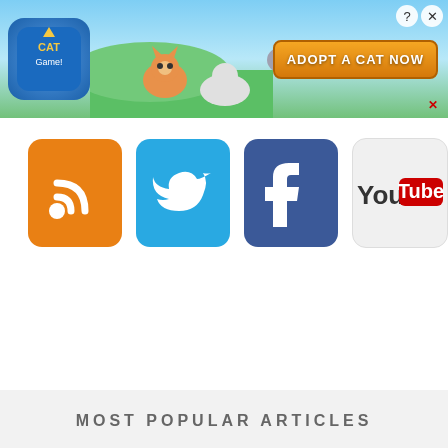[Figure (screenshot): Top advertisement banner for Cat Game app showing cartoon cats and 'ADOPT A CAT NOW' button with close/help icons]
[Figure (infographic): Row of four social media icons: RSS (orange), Twitter (blue), Facebook (dark blue), YouTube (white/red)]
[Figure (screenshot): White empty space content area]
MOST POPULAR ARTICLES
[Figure (screenshot): Bottom advertisement banner for Cat Game app showing cartoon cats and 'ADOPT A CAT NOW' button, same as top banner]